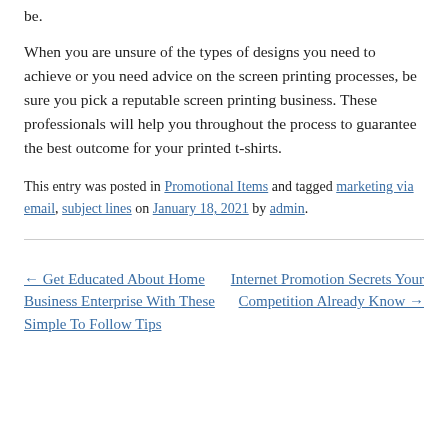be.
When you are unsure of the types of designs you need to achieve or you need advice on the screen printing processes, be sure you pick a reputable screen printing business. These professionals will help you throughout the process to guarantee the best outcome for your printed t-shirts.
This entry was posted in Promotional Items and tagged marketing via email, subject lines on January 18, 2021 by admin.
← Get Educated About Home Business Enterprise With These Simple To Follow Tips
Internet Promotion Secrets Your Competition Already Know →